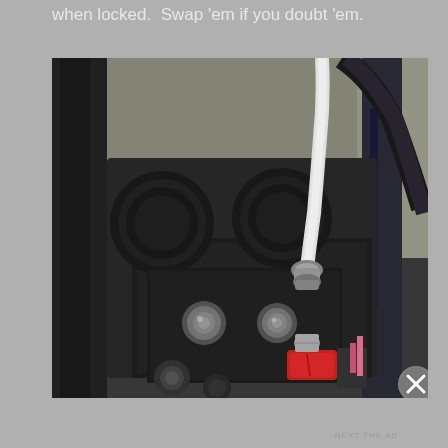when locked.  Swap 'em if you doubt 'em.
[Figure (photo): Close-up photograph of a 3D printer extruder/hotend assembly showing a PTFE tube (white bowden tube) connected to a pneumatic fitting on a black metal plate, with motor wheels visible in the background, a red component at the bottom, and blue-accented frame rail on the right side.]
NEXT THE AD